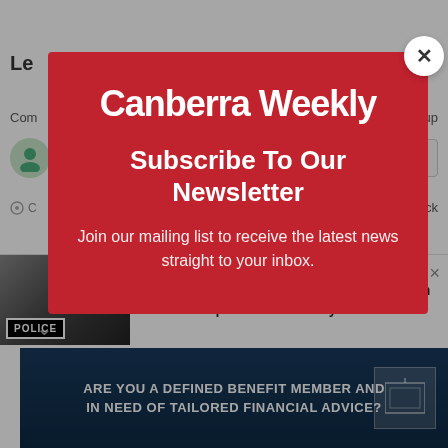[Figure (screenshot): Screenshot of Canberra Weekly website with a newsletter subscription modal overlay. The modal has a red background with white text showing 'Canberra Weekly', 'Subscribe To Our Newsletter', and body text. Behind and below are page UI elements including a comment section and notification bar. A bottom ad banner reads 'Are you a defined benefit member and in need of tailored financial advice?']
Canberra Weekly
Subscribe To Our Newsletter
Join our mailing list to receive the latest news straight to your inbox.
Missing 33-year-old woman's body found in Belconnen | Canberra Weekly
ARE YOU A DEFINED BENEFIT MEMBER AND IN NEED OF TAILORED FINANCIAL ADVICE?